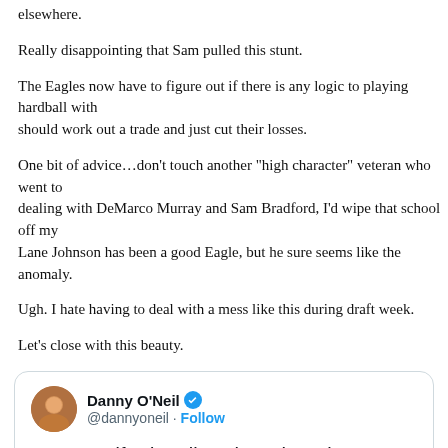If Bradford was coveted enough to simply get his way, he would have signed elsewhere.
Really disappointing that Sam pulled this stunt.
The Eagles now have to figure out if there is any logic to playing hardball with him or should work out a trade and just cut their losses.
One bit of advice…don't touch another "high character" veteran who went to Oklahoma. After dealing with DeMarco Murray and Sam Bradford, I'd wipe that school off my board. At least Lane Johnson has been a good Eagle, but he sure seems like the anomaly.
Ugh. I hate having to deal with a mess like this during draft week.
Let's close with this beauty.
[Figure (screenshot): Embedded tweet from Danny O'Neil (@dannyoneil) with blue verified checkmark and Follow button. Tweet text: Sam Bradford realizes he's the primary reason the #Rams and the #Eagles are both in the market for a long-term QB, right?]